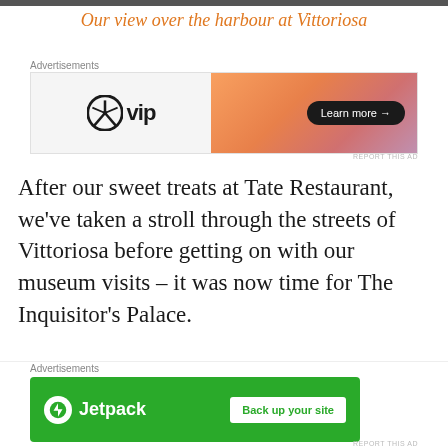[Figure (photo): Top strip of a photo showing a harbour view at Vittoriosa]
Our view over the harbour at Vittoriosa
Advertisements
[Figure (screenshot): WordPress VIP advertisement banner with gradient orange/pink background and Learn more button]
After our sweet treats at Tate Restaurant, we've taken a stroll through the streets of Vittoriosa before getting on with our museum visits – it was now time for The Inquisitor's Palace.
[Figure (photo): Bottom partial photo showing stone buildings and blue sky in Vittoriosa]
Advertisements
[Figure (screenshot): Jetpack advertisement banner on green background with Back up your site button]